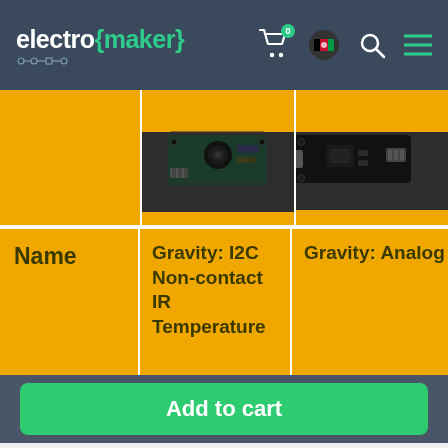electro{maker} — navigation bar with cart, country flag, search, and menu icons
| Name | Gravity: I2C Non-contact IR Temperature | Gravity: Analog LM35 Temperature Sensor For Ar... |
| --- | --- | --- |
| [image] | [product image: IR sensor module] | [product image: LM35 sensor board] |
| Name | Gravity: I2C Non-contact IR Temperature | Gravity: Analog LM35 Temperature Sensor For Ar |
Add to cart
Electromaker uses cookies to give you the best experience.